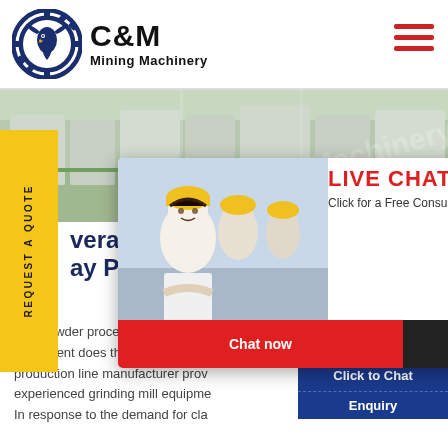[Figure (logo): C&M Mining Machinery logo with eagle/gear emblem in dark blue circle, company name in bold black text]
[Figure (photo): Factory floor interior with industrial machinery and equipment, green-tinted hall]
REQUEST A QUOTE
[Figure (screenshot): Live chat popup overlay with workers in hard hats, LIVE CHAT title in red, 'Click for a Free Consultation', Chat now and Chat later buttons]
[Figure (screenshot): Right-side chat widget showing Hours Online text, female support agent with headset, Click to Chat button, and Enquiry label]
Several Clay Powder Grinding
clay powder processing, what equipment does the clay grinding production line manufacturer provide experienced grinding mill equipment In response to the demand for clay